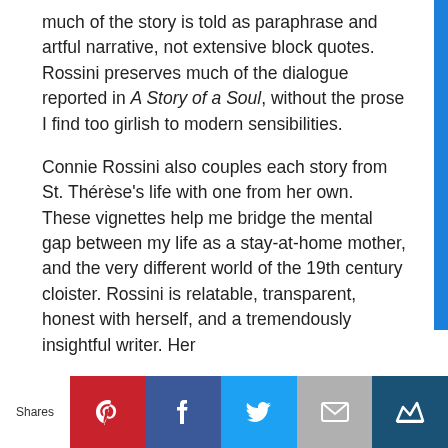much of the story is told as paraphrase and artful narrative, not extensive block quotes. Rossini preserves much of the dialogue reported in A Story of a Soul, without the prose I find too girlish to modern sensibilities.
Connie Rossini also couples each story from St. Thérèse's life with one from her own. These vignettes help me bridge the mental gap between my life as a stay-at-home mother, and the very different world of the 19th century cloister. Rossini is relatable, transparent, honest with herself, and a tremendously insightful writer. Her
Shares